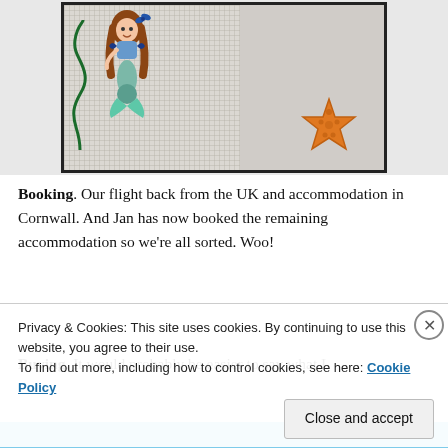[Figure (photo): Photo of a cross-stitch or needlework piece showing a mermaid with brown hair and blue-purple tail on a grid fabric background, with a green seaweed plant to the left. On the right side of the photo (outside the stitched area) is an orange starfish illustration.]
Booking. Our flight back from the UK and accommodation in Cornwall. And Jan has now booked the remaining accommodation so we're all sorted. Woo!
Buying. It would probably be easier to say what I
Privacy & Cookies: This site uses cookies. By continuing to use this website, you agree to their use.
To find out more, including how to control cookies, see here: Cookie Policy
Close and accept